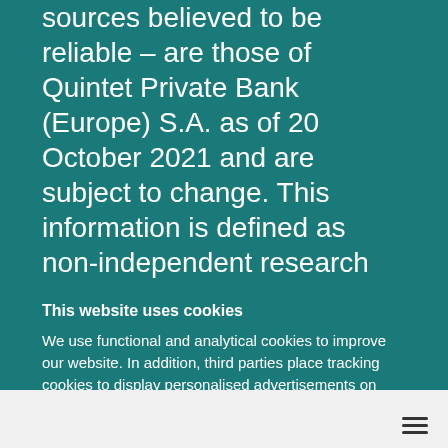sources believed to be reliable – are those of Quintet Private Bank (Europe) S.A. as of 20 October 2021 and are subject to change. This information is defined as non-independent research
This website uses cookies
We use functional and analytical cookies to improve our website. In addition, third parties place tracking cookies to display personalised advertisements on social media. By clicking accept you consent to the placement of these cookies.